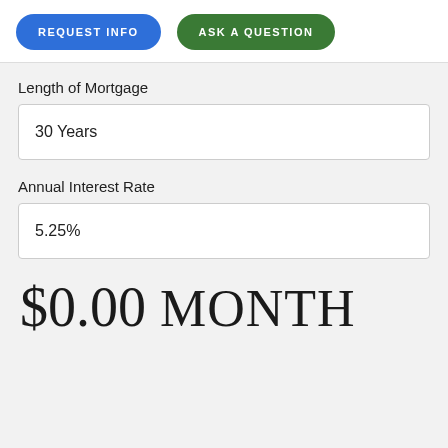REQUEST INFO
ASK A QUESTION
Length of Mortgage
30 Years
Annual Interest Rate
5.25%
$0.00 MONTH